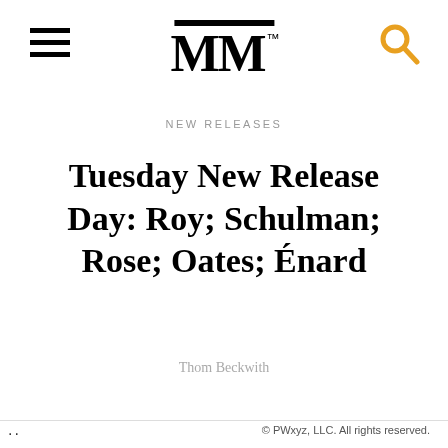MM™ — NEW RELEASES
Tuesday New Release Day: Roy; Schulman; Rose; Oates; Énard
Thom Beckwith
© PWxyz, LLC. All rights reserved.